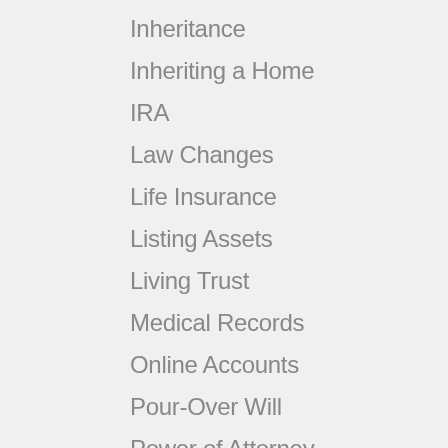Inheritance
Inheriting a Home
IRA
Law Changes
Life Insurance
Listing Assets
Living Trust
Medical Records
Online Accounts
Pour-Over Will
Power of Attorney
Prepared for Death
Probate
Property Tax Reassessment
Proposition 19
Retirement Accounts
SECURE Act